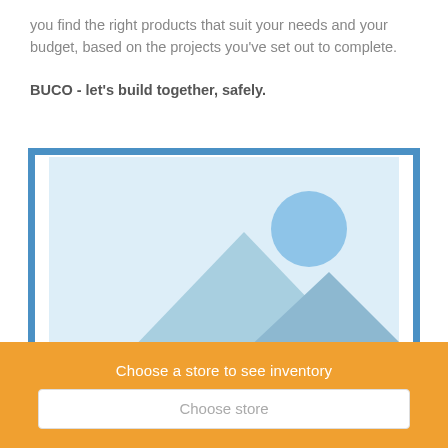you find the right products that suit your needs and your budget, based on the projects you’ve set out to complete.
BUCO - let’s build together, safely.
[Figure (illustration): Image placeholder with blue border showing a generic landscape placeholder icon with mountains and a circle (sun), in light blue tones.]
Choose a store to see inventory
Choose store